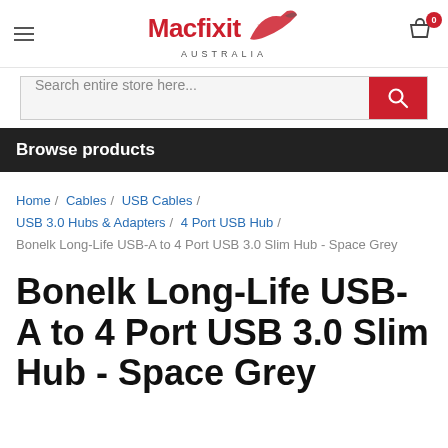[Figure (logo): Macfixit Australia logo with red text and stylized bird graphic]
Search entire store here...
Browse products
Home / Cables / USB Cables / USB 3.0 Hubs & Adapters / 4 Port USB Hub / Bonelk Long-Life USB-A to 4 Port USB 3.0 Slim Hub - Space Grey
Bonelk Long-Life USB-A to 4 Port USB 3.0 Slim Hub - Space Grey